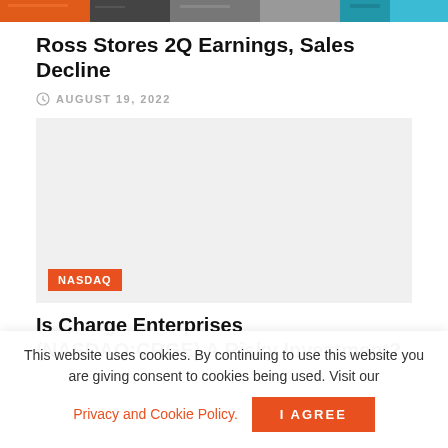[Figure (photo): Top image strip showing Ross Stores retail exterior, multicolor banner]
Ross Stores 2Q Earnings, Sales Decline
AUGUST 19, 2022
[Figure (photo): Gray placeholder image with NASDAQ orange badge in bottom left corner]
Is Charge Enterprises (NASDAQ:CRGE) A Risky Investment?
This website uses cookies. By continuing to use this website you are giving consent to cookies being used. Visit our Privacy and Cookie Policy. I Agree